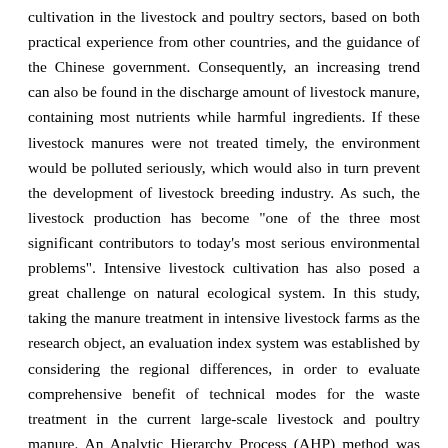cultivation in the livestock and poultry sectors, based on both practical experience from other countries, and the guidance of the Chinese government. Consequently, an increasing trend can also be found in the discharge amount of livestock manure, containing most nutrients while harmful ingredients. If these livestock manures were not treated timely, the environment would be polluted seriously, which would also in turn prevent the development of livestock breeding industry. As such, the livestock production has become "one of the three most significant contributors to today's most serious environmental problems". Intensive livestock cultivation has also posed a great challenge on natural ecological system. In this study, taking the manure treatment in intensive livestock farms as the research object, an evaluation index system was established by considering the regional differences, in order to evaluate comprehensive benefit of technical modes for the waste treatment in the current large-scale livestock and poultry manure. An Analytic Hierarchy Process (AHP) method was used to construct the comprehensive evaluation index system, based on the whole production chain, including planning layout, manure collection-storage-transportation, efficient treatment, transformation, and utilization to farmland. Three aspects of